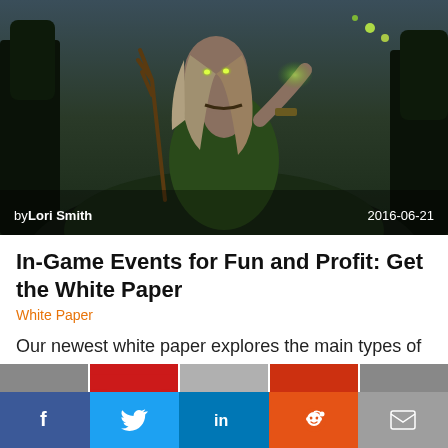[Figure (illustration): Fantasy illustration of a female elf/druid character with glowing green eyes, holding an antlered staff, standing in a dark forest. Overlay text shows author 'by Lori Smith' at bottom left and date '2016-06-21' at bottom right.]
In-Game Events for Fun and Profit: Get the White Paper
White Paper
Our newest white paper explores the main types of in-game events and how to use them.
Read this post
f  (Twitter bird)  in  (Reddit alien)  (envelope)